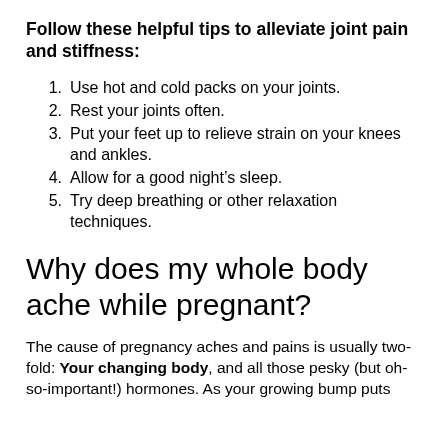Follow these helpful tips to alleviate joint pain and stiffness:
Use hot and cold packs on your joints.
Rest your joints often.
Put your feet up to relieve strain on your knees and ankles.
Allow for a good night's sleep.
Try deep breathing or other relaxation techniques.
Why does my whole body ache while pregnant?
The cause of pregnancy aches and pains is usually two-fold: Your changing body, and all those pesky (but oh-so-important!) hormones. As your growing bump puts